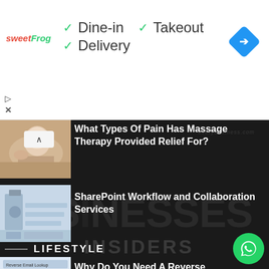[Figure (screenshot): sweetFrog restaurant ad banner showing Dine-in, Takeout, and Delivery options with green checkmarks, logo, and navigation icon]
What Types Of Pain Has Massage Therapy Provided Relief For?
[Figure (photo): Person receiving a massage therapy treatment]
SharePoint Workflow and Collaboration Services
[Figure (photo): Office team collaboration scene]
LIFESTYLE
Why Do You Need A Reverse Lookup?
[Figure (screenshot): Reverse Email Lookup thumbnail image]